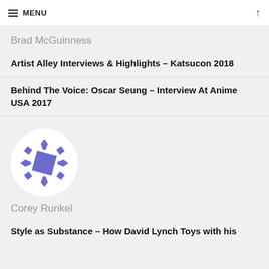≡ MENU
Brad McGuinness
Artist Alley Interviews & Highlights – Katsucon 2018
Behind The Voice: Oscar Seung – Interview At Anime USA 2017
[Figure (illustration): Round avatar icon with a purple splatter/cross shape on white background]
Corey Runkel
Style as Substance – How David Lynch Toys with his